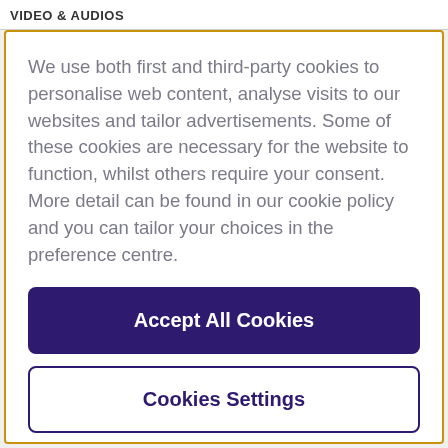VIDEO & AUDIOS
We use both first and third-party cookies to personalise web content, analyse visits to our websites and tailor advertisements. Some of these cookies are necessary for the website to function, whilst others require your consent. More detail can be found in our cookie policy and you can tailor your choices in the preference centre.
Accept All Cookies
Cookies Settings